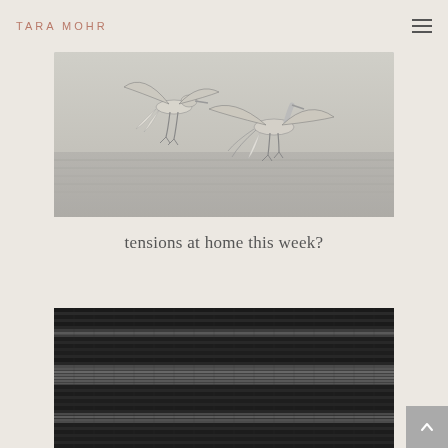TARA MOHR
[Figure (photo): Two egrets or herons mid-flight against a misty ocean/water background, wings spread dramatically, legs dangling. Monochromatic, soft grey tones.]
tensions at home this week?
[Figure (photo): Close-up texture of a dark/black woven fabric or blanket with horizontal white stripe patterns.]